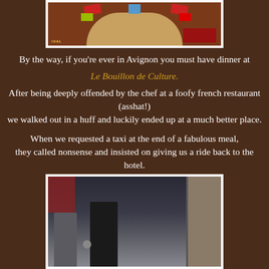[Figure (photo): Top photo showing a building facade with stained glass rose window, red banners, and signage for a festival in Avignon]
By the way, if you're ever in Avignon you must have dinner at Le Bouillon de Culture. After being deeply offended by the chef at a foofy french restaurant (asshat!) we walked out in a huff and luckily ended up at a much better place.

When we requested a taxi at the end of a fabulous meal, they called nonsense and insisted on giving us a ride back to the hotel. Now that's service.
[Figure (photo): Night street photo in Avignon showing two women walking in an alley with storefronts]